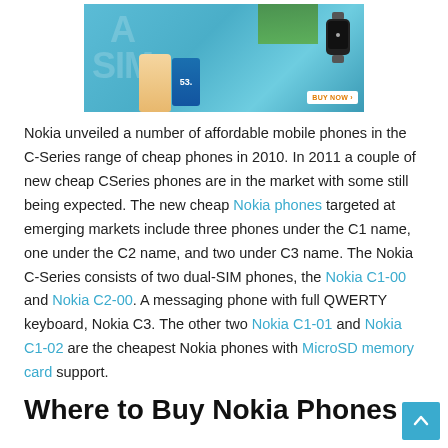[Figure (photo): Advertisement banner showing Nokia phones (gold and blue colored smartphones) with text '53' on blue phone, and a smartwatch on the right side. 'BUY NOW ›' button in bottom right. Teal/cyan background with faint SIM card and A-logo graphics.]
Nokia unveiled a number of affordable mobile phones in the C-Series range of cheap phones in 2010. In 2011 a couple of new cheap CSeries phones are in the market with some still being expected. The new cheap Nokia phones targeted at emerging markets include three phones under the C1 name, one under the C2 name, and two under C3 name. The Nokia C-Series consists of two dual-SIM phones, the Nokia C1-00 and Nokia C2-00. A messaging phone with full QWERTY keyboard, Nokia C3. The other two Nokia C1-01 and Nokia C1-02 are the cheapest Nokia phones with MicroSD memory card support.
Where to Buy Nokia Phones